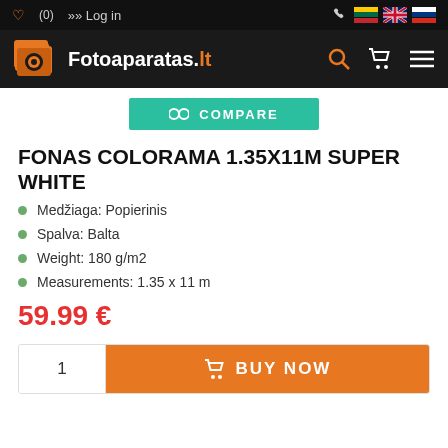♡ (0)  >> Log in
[Figure (logo): Fotoaparatas.lt logo with orange camera icon on black background, with search, cart, and menu icons]
[Figure (other): Green COMPARE button with compare icon]
FONAS COLORAMA 1.35X11M SUPER WHITE
Medžiaga: Popierinis
Spalva: Balta
Weight: 180 g/m2
Measurements: 1.35 x 11 m
59.99 €
[Figure (other): Quantity input box showing 1, and orange BUY NOW button with cart icon]